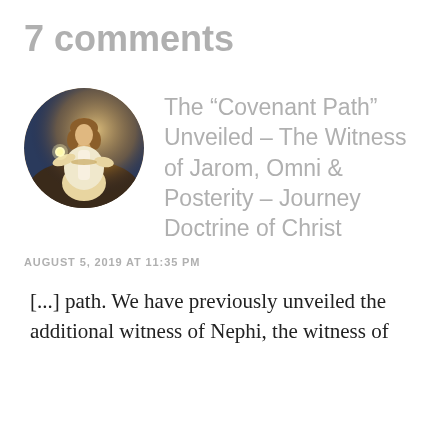7 comments
[Figure (illustration): Circular avatar image showing a figure of Jesus Christ in white robes holding a light, set against a dark landscape background.]
The “Covenant Path” Unveiled – The Witness of Jarom, Omni & Posterity – Journey Doctrine of Christ
AUGUST 5, 2019 AT 11:35 PM
[...] path. We have previously unveiled the additional witness of Nephi, the witness of